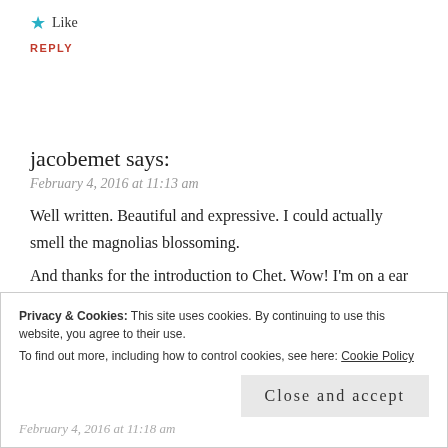★ Like
REPLY
jacobemet says:
February 4, 2016 at 11:13 am
Well written. Beautiful and expressive. I could actually smell the magnolias blossoming.
And thanks for the introduction to Chet. Wow! I'm on a ear feast. 🙂
Privacy & Cookies: This site uses cookies. By continuing to use this website, you agree to their use. To find out more, including how to control cookies, see here: Cookie Policy
Close and accept
February 4, 2016 at 11:18 am